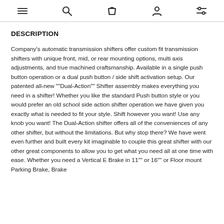[Navigation icons: menu, search, bag, account, filters]
DESCRIPTION
Company's automatic transmission shifters offer custom fit transmission shifters with unique front, mid, or rear mounting options, multi axis adjustments, and true machined craftsmanship. Available in a single push button operation or a dual push button / side shift activation setup. Our patented all-new ""Dual-Action"" Shifter assembly makes everything you need in a shifter! Whether you like the standard Push button style or you would prefer an old school side action shifter operation we have given you exactly what is needed to fit your style. Shift however you want! Use any knob you want! The Dual-Action shifter offers all of the conveniences of any other shifter, but without the limitations. But why stop there? We have went even further and built every kit imaginable to couple this great shifter with our other great components to allow you to get what you need all at one time with ease. Whether you need a Vertical E Brake in 11"" or 16"" or Floor mount Parking Brake, Brake